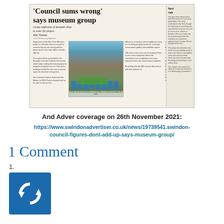[Figure (photo): Newspaper clipping with headline 'Council sums wrong' says museum group, showing a group photo of people in blue t-shirts holding a green crocodile costume outside a brick building, with multiple columns of article text]
And Adver coverage on 26th November 2021:
https://www.swindonadvertiser.co.uk/news/19739541.swindon-council-figures-dont-add-up-says-museum-group/
1 Comment
1.
[Figure (logo): Blue square icon with white circular arrow/refresh symbol]